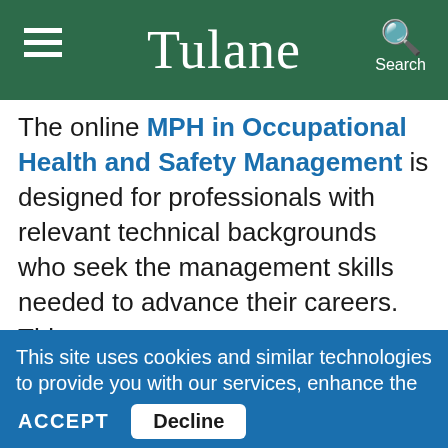Tulane
The online MPH in Occupational Health and Safety Management is designed for professionals with relevant technical backgrounds who seek the management skills needed to advance their careers. This program promotes system thinking and management fundamentals. Students are drawn from global corporations, large and medium-
This site uses cookies and similar technologies to provide you with our services, enhance the performance and functionality of our services, analyze the use of our products and services, and assist with our advertising and marketing efforts.  Privacy Notice    GDPR Privacy Policy
ACCEPT    Decline